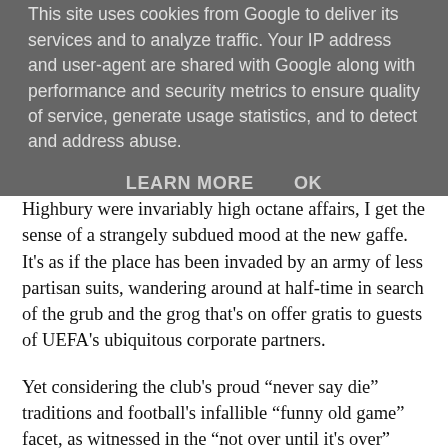This site uses cookies from Google to deliver its services and to analyze traffic. Your IP address and user-agent are shared with Google along with performance and security metrics to ensure quality of service, generate usage statistics, and to detect and address abuse.
LEARN MORE   OK
Highbury were invariably high octane affairs, I get the sense of a strangely subdued mood at the new gaffe. It's as if the place has been invaded by an army of less partisan suits, wandering around at half-time in search of the grub and the grog that's on offer gratis to guests of UEFA's ubiquitous corporate partners.
Yet considering the club's proud “never say die” traditions and football's infallible “funny old game” facet, as witnessed in the “not over until it's over” events at Upton Park only a few days earlier, what really bothered me last Wednesday was the reaction to PSV’s goal. You’d have never seen the likes of Keown and Adams lie down and accept their fate. Even with only 5 minutes left on the clock, they’d have gone out of the competition still kicking and screaming, right until